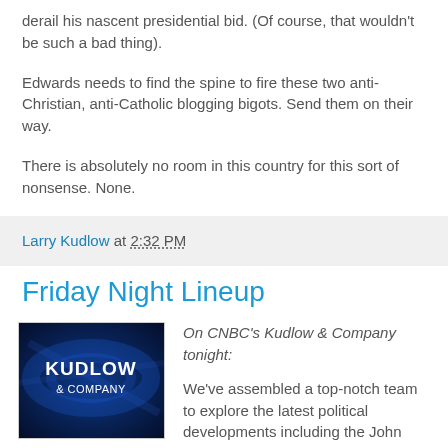derail his nascent presidential bid. (Of course, that wouldn't be such a bad thing).
Edwards needs to find the spine to fire these two anti-Christian, anti-Catholic blogging bigots. Send them on their way.
There is absolutely no room in this country for this sort of nonsense. None.
Larry Kudlow at 2:32 PM
Friday Night Lineup
[Figure (logo): Kudlow & Company TV show logo on blue background]
On CNBC's Kudlow & Company tonight:

We've assembled a top-notch team to explore the latest political developments including the John